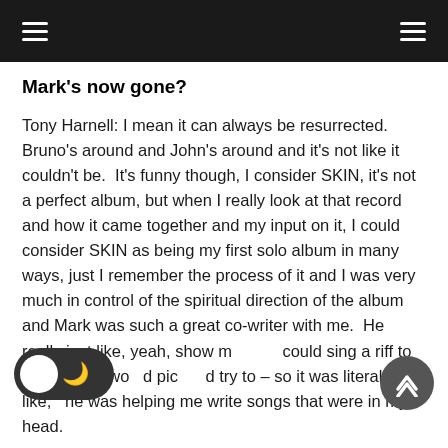≡  ≡
Mark's now gone?
Tony Harnell: I mean it can always be resurrected. Bruno's around and John's around and it's not like it couldn't be.  It's funny though, I consider SKIN, it's not a perfect album, but when I really look at that record and how it came together and my input on it, I could consider SKIN as being my first solo album in many ways, just I remember the process of it and I was very much in control of the spiritual direction of the album and Mark was such a great co-writer with me.  He really just like, yeah, show m could sing a riff to him and he would pic d try to – so it was literally, like, he was helping me write songs that were in my head.